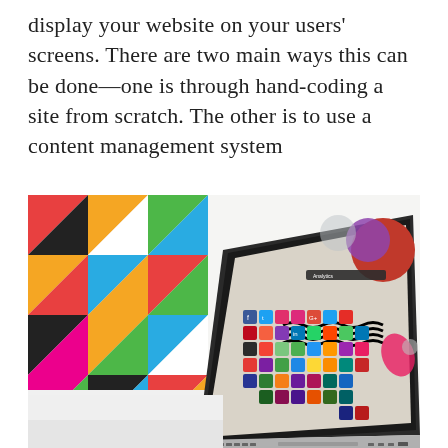display your website on your users' screens. There are two main ways this can be done—one is through hand-coding a site from scratch. The other is to use a content management system
[Figure (photo): A laptop computer displaying a colorful social media icons grid on its screen, placed on a white surface next to a blurred colorful geometric triangle-patterned background.]